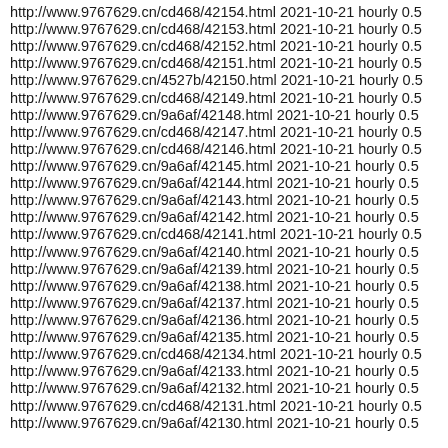http://www.9767629.cn/cd468/42154.html 2021-10-21 hourly 0.5
http://www.9767629.cn/cd468/42153.html 2021-10-21 hourly 0.5
http://www.9767629.cn/cd468/42152.html 2021-10-21 hourly 0.5
http://www.9767629.cn/cd468/42151.html 2021-10-21 hourly 0.5
http://www.9767629.cn/4527b/42150.html 2021-10-21 hourly 0.5
http://www.9767629.cn/cd468/42149.html 2021-10-21 hourly 0.5
http://www.9767629.cn/9a6af/42148.html 2021-10-21 hourly 0.5
http://www.9767629.cn/cd468/42147.html 2021-10-21 hourly 0.5
http://www.9767629.cn/cd468/42146.html 2021-10-21 hourly 0.5
http://www.9767629.cn/9a6af/42145.html 2021-10-21 hourly 0.5
http://www.9767629.cn/9a6af/42144.html 2021-10-21 hourly 0.5
http://www.9767629.cn/9a6af/42143.html 2021-10-21 hourly 0.5
http://www.9767629.cn/9a6af/42142.html 2021-10-21 hourly 0.5
http://www.9767629.cn/cd468/42141.html 2021-10-21 hourly 0.5
http://www.9767629.cn/9a6af/42140.html 2021-10-21 hourly 0.5
http://www.9767629.cn/9a6af/42139.html 2021-10-21 hourly 0.5
http://www.9767629.cn/9a6af/42138.html 2021-10-21 hourly 0.5
http://www.9767629.cn/9a6af/42137.html 2021-10-21 hourly 0.5
http://www.9767629.cn/9a6af/42136.html 2021-10-21 hourly 0.5
http://www.9767629.cn/9a6af/42135.html 2021-10-21 hourly 0.5
http://www.9767629.cn/cd468/42134.html 2021-10-21 hourly 0.5
http://www.9767629.cn/9a6af/42133.html 2021-10-21 hourly 0.5
http://www.9767629.cn/9a6af/42132.html 2021-10-21 hourly 0.5
http://www.9767629.cn/cd468/42131.html 2021-10-21 hourly 0.5
http://www.9767629.cn/9a6af/42130.html 2021-10-21 hourly 0.5